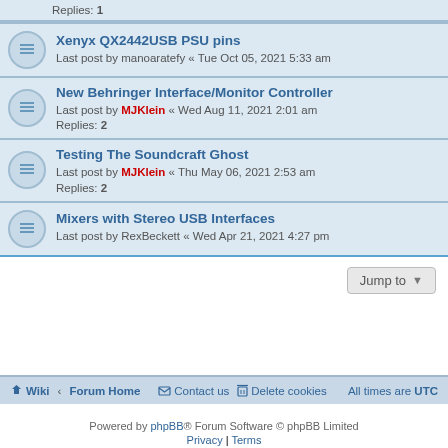Replies: 1
Xenyx QX2442USB PSU pins
Last post by manoaratefy « Tue Oct 05, 2021 5:33 am
New Behringer Interface/Monitor Controller
Last post by MJKlein « Wed Aug 11, 2021 2:01 am
Replies: 2
Testing The Soundcraft Ghost
Last post by MJKlein « Thu May 06, 2021 2:53 am
Replies: 2
Mixers with Stereo USB Interfaces
Last post by RexBeckett « Wed Apr 21, 2021 4:27 pm
Wiki · Forum Home   Contact us   Delete cookies   All times are UTC
Powered by phpBB® Forum Software © phpBB Limited
Privacy | Terms